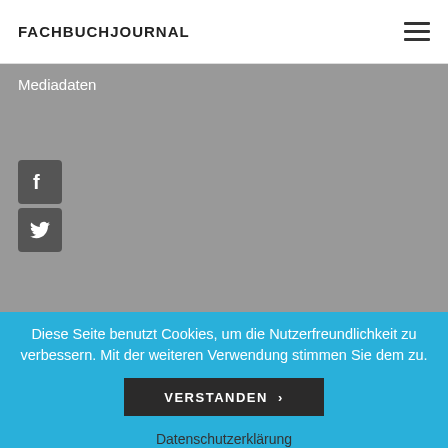FACHBUCHJOURNAL
Mediadaten
[Figure (logo): Facebook icon button (dark gray square with white F logo)]
[Figure (logo): Twitter icon button (dark gray square with white bird logo)]
Diese Seite benutzt Cookies, um die Nutzerfreundlichkeit zu verbessern. Mit der weiteren Verwendung stimmen Sie dem zu.
VERSTANDEN ›
Datenschutzerklärung